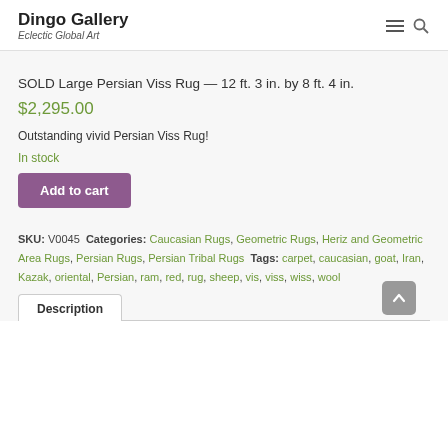Dingo Gallery Eclectic Global Art
SOLD Large Persian Viss Rug — 12 ft. 3 in. by 8 ft. 4 in.
$2,295.00
Outstanding vivid Persian Viss Rug!
In stock
Add to cart
SKU: V0045 Categories: Caucasian Rugs, Geometric Rugs, Heriz and Geometric Area Rugs, Persian Rugs, Persian Tribal Rugs Tags: carpet, caucasian, goat, Iran, Kazak, oriental, Persian, ram, red, rug, sheep, vis, viss, wiss, wool
Description